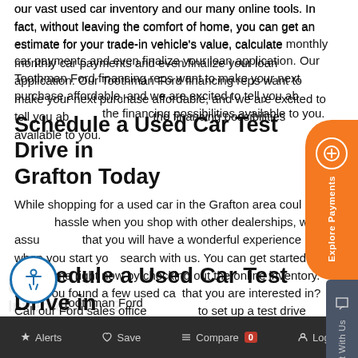our vast used car inventory and our many online tools. In fact, without leaving the comfort of home, you can get an estimate for your trade-in vehicle's value, calculate monthly car payments and even finalize your loan application. Our Toothman Ford financing reps want to make your next purchase affordable, and we are excited to tell you about the financing possibilities available to you.
Schedule a Used Car Test Drive in Grafton Today
While shopping for a used car in the Grafton area could be a hassle when you shop with other dealerships, we assure you that you will have a wonderful experience when you start your search with us. You can get started from home right now by checking out the online inventory. Have you found a few used cars that you are interested in? Call our Ford sales office to set up a test drive appointment with us.
Toothman Ford
Alerts   Save   Compare 0   Login